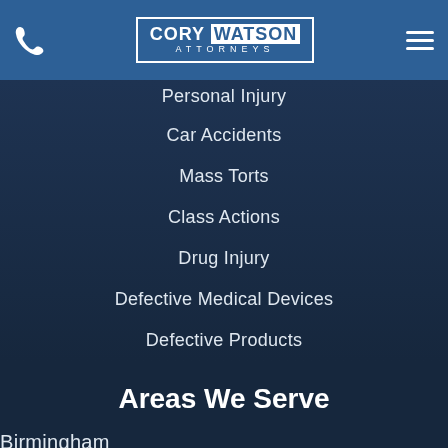CORY WATSON ATTORNEYS
Personal Injury
Car Accidents
Mass Torts
Class Actions
Drug Injury
Defective Medical Devices
Defective Products
Areas We Serve
Birmingham
Memphis